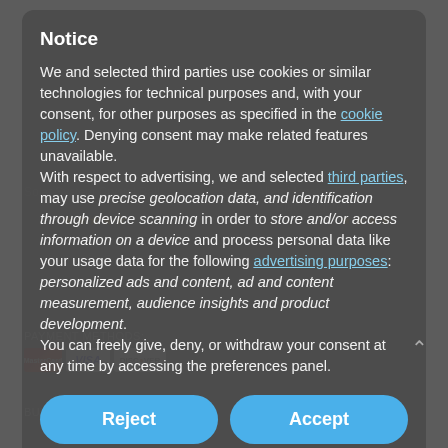Notice
We and selected third parties use cookies or similar technologies for technical purposes and, with your consent, for other purposes as specified in the cookie policy. Denying consent may make related features unavailable.
With respect to advertising, we and selected third parties, may use precise geolocation data, and identification through device scanning in order to store and/or access information on a device and process personal data like your usage data for the following advertising purposes: personalized ads and content, ad and content measurement, audience insights and product development.
You can freely give, deny, or withdraw your consent at any time by accessing the preferences panel.
PAYMENT METHODS:
BUY WITH CONFIDENCE:
Reject
Accept
Learn more and customize